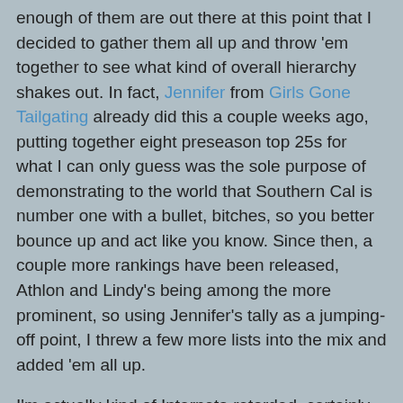enough of them are out there at this point that I decided to gather them all up and throw 'em together to see what kind of overall hierarchy shakes out. In fact, Jennifer from Girls Gone Tailgating already did this a couple weeks ago, putting together eight preseason top 25s for what I can only guess was the sole purpose of demonstrating to the world that Southern Cal is number one with a bullet, bitches, so you better bounce up and act like you know. Since then, a couple more rankings have been released, Athlon and Lindy's being among the more prominent, so using Jennifer's tally as a jumping-off point, I threw a few more lists into the mix and added 'em all up.
I'm actually kind of Internets-retarded, certainly too much so to put a table on this blog, but you can find the full, detailed rankings here in a Google spreadsheet. The aggregate top 25 is as follows:
1. Southern California
2. LSU
3. West Virginia
4. Michigan
5. Florida